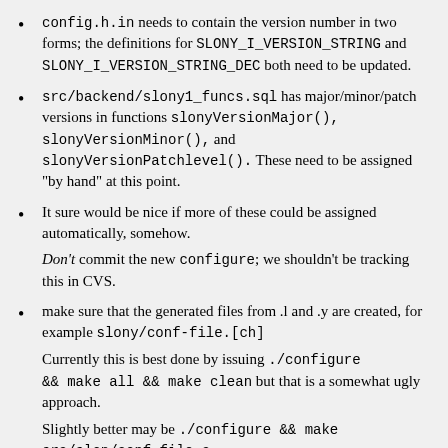config.h.in needs to contain the version number in two forms; the definitions for SLONY_I_VERSION_STRING and SLONY_I_VERSION_STRING_DEC both need to be updated.
src/backend/slony1_funcs.sql has major/minor/patch versions in functions slonyVersionMajor(), slonyVersionMinor(), and slonyVersionPatchlevel(). These need to be assigned "by hand" at this point.
It sure would be nice if more of these could be assigned automatically, somehow.
Don't commit the new configure; we shouldn't be tracking this in CVS.
make sure that the generated files from .l and .y are created, for example slony/conf-file.[ch]
Currently this is best done by issuing ./configure && make all && make clean but that is a somewhat ugly approach.
Slightly better may be ./configure && make src/slon/conf-file.c src/slonik/parser.c src/slonik/scan.c